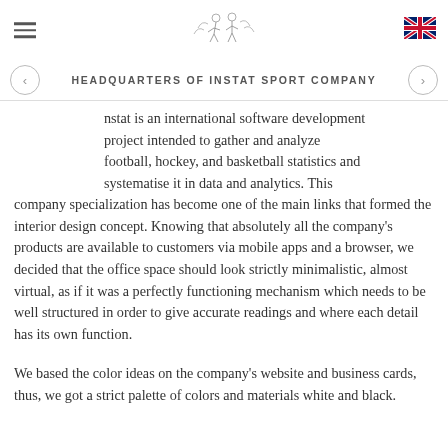HEADQUARTERS OF INSTAT SPORT COMPANY
nstat is an international software development project intended to gather and analyze football, hockey, and basketball statistics and systematise it in data and analytics. This company specialization has become one of the main links that formed the interior design concept. Knowing that absolutely all the company's products are available to customers via mobile apps and a browser, we decided that the office space should look strictly minimalistic, almost virtual, as if it was a perfectly functioning mechanism which needs to be well structured in order to give accurate readings and where each detail has its own function.
We based the color ideas on the company's website and business cards, thus, we got a strict palette of colors and materials white and black.